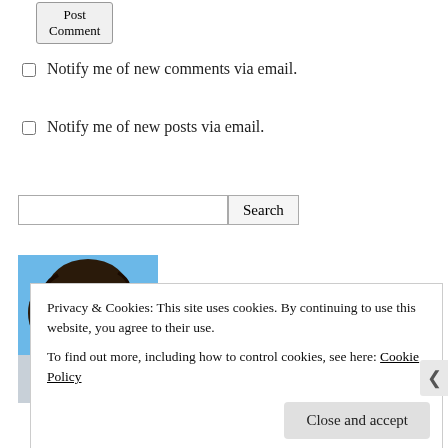Post Comment
Notify me of new comments via email.
Notify me of new posts via email.
[Figure (photo): Search input field with a Search button]
[Figure (photo): Portrait photo of a smiling person with dark hair outdoors with blue sky background]
Privacy & Cookies: This site uses cookies. By continuing to use this website, you agree to their use.
To find out more, including how to control cookies, see here: Cookie Policy
Close and accept